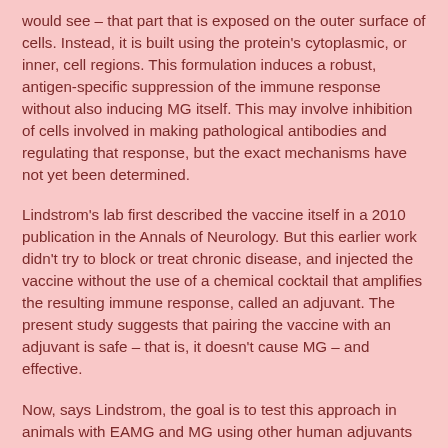would see – that part that is exposed on the outer surface of cells. Instead, it is built using the protein's cytoplasmic, or inner, cell regions. This formulation induces a robust, antigen-specific suppression of the immune response without also inducing MG itself. This may involve inhibition of cells involved in making pathological antibodies and regulating that response, but the exact mechanisms have not yet been determined.
Lindstrom's lab first described the vaccine itself in a 2010 publication in the Annals of Neurology. But this earlier work didn't try to block or treat chronic disease, and injected the vaccine without the use of a chemical cocktail that amplifies the resulting immune response, called an adjuvant. The present study suggests that pairing the vaccine with an adjuvant is safe – that is, it doesn't cause MG – and effective.
Now, says Lindstrom, the goal is to test this approach in animals with EAMG and MG using other human adjuvants and then move to human clinical trials.